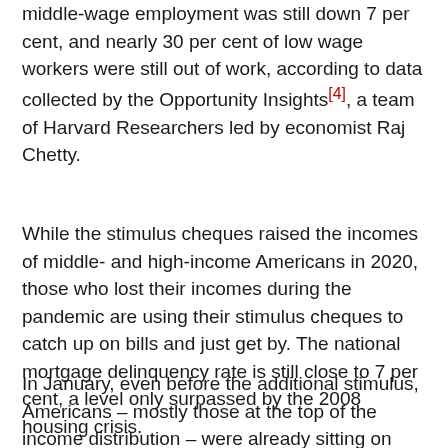middle-wage employment was still down 7 per cent, and nearly 30 per cent of low wage workers were still out of work, according to data collected by the Opportunity Insights[4], a team of Harvard Researchers led by economist Raj Chetty.
While the stimulus cheques raised the incomes of middle- and high-income Americans in 2020, those who lost their incomes during the pandemic are using their stimulus cheques to catch up on bills and just get by. The national mortgage delinquency rate is still close to 7 per cent, a level only surpassed by the 2008 housing crisis.
In January, even before the additional stimulus, Americans – mostly those at the top of the income distribution – were already sitting on close to US$2 trillion in aggregate savings